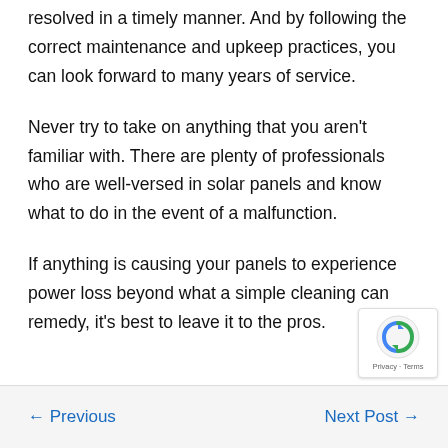resolved in a timely manner. And by following the correct maintenance and upkeep practices, you can look forward to many years of service.
Never try to take on anything that you aren't familiar with. There are plenty of professionals who are well-versed in solar panels and know what to do in the event of a malfunction.
If anything is causing your panels to experience power loss beyond what a simple cleaning can remedy, it's best to leave it to the pros.
← Previous   Next Post →